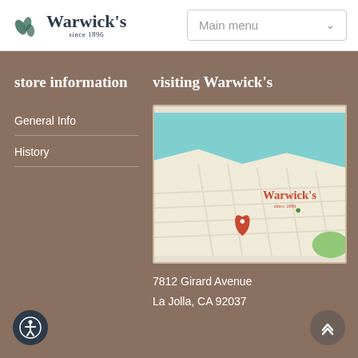[Figure (logo): Warwick's bookstore logo with leaf icon and text 'Warwick's since 1896']
Main menu
store information
General Info
History
visiting Warwick's
[Figure (map): Google Maps view showing La Jolla coastline with Warwick's location pin marker and store logo overlay]
7812 Girard Avenue
La Jolla, CA 92037